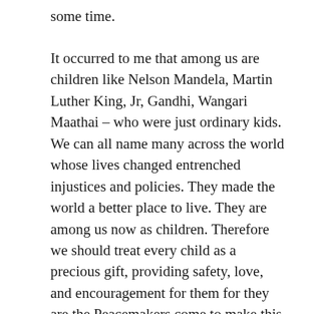some time.
It occurred to me that among us are children like Nelson Mandela, Martin Luther King, Jr, Gandhi, Wangari Maathai – who were just ordinary kids. We can all name many across the world whose lives changed entrenched injustices and policies. They made the world a better place to live. They are among us now as children. Therefore we should treat every child as a precious gift, providing safety, love, and encouragement for them for they are the Peacemakers come to make this human world better, safer, more compassionate, enlightened, and just.